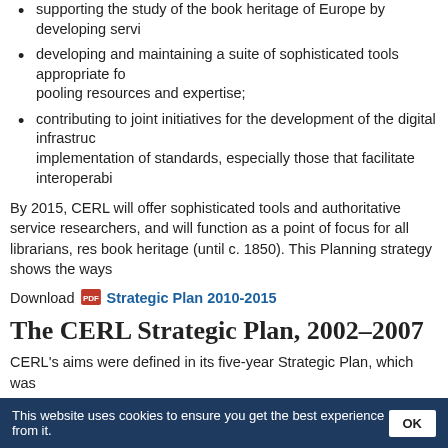supporting the study of the book heritage of Europe by developing servi…
developing and maintaining a suite of sophisticated tools appropriate for pooling resources and expertise;
contributing to joint initiatives for the development of the digital infrastructure, implementation of standards, especially those that facilitate interoperabi…
By 2015, CERL will offer sophisticated tools and authoritative services to researchers, and will function as a point of focus for all librarians, researchers, book heritage (until c. 1850). This Planning strategy shows the ways…
Download Strategic Plan 2010-2015
The CERL Strategic Plan, 2002–2007
CERL's aims were defined in its five-year Strategic Plan, which was…
To develop and expand the Hand Press Book Database and the CERL T… user support.
To provide users with integrated access to other related tools.
To develop associated tools with the object of enhancing access and as… down to the present in the form of books written or printed before the mi…
This website uses cookies to ensure you get the best experience from it.  OK